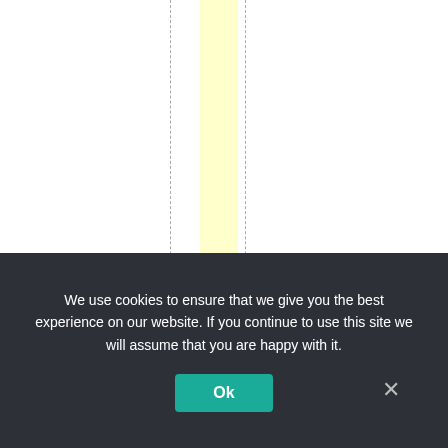[Figure (other): Vertical text reading 'ngmoneyinflowandth' displayed letter by letter top to bottom, overlaid on a page with a yellow highlighted column and dashed vertical lines. This appears to be part of a larger document about money inflow.]
We use cookies to ensure that we give you the best experience on our website. If you continue to use this site we will assume that you are happy with it.